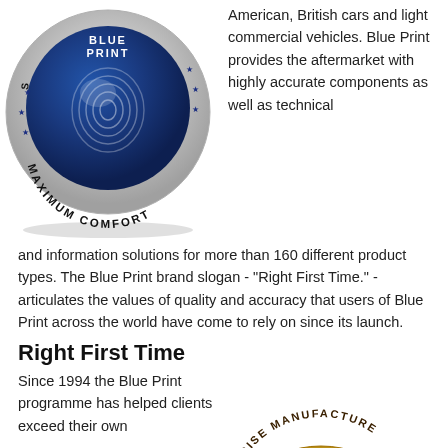[Figure (logo): Blue Print circular badge with fingerprint and 'MAXIMUM COMFORT' text around the edge, silver and blue design]
American, British cars and light commercial vehicles. Blue Print provides the aftermarket with highly accurate components as well as technical and information solutions for more than 160 different product types. The Blue Print brand slogan - "Right First Time." - articulates the values of quality and accuracy that users of Blue Print across the world have come to rely on since its launch.
Right First Time
Since 1994 the Blue Print programme has helped clients exceed their own
[Figure (logo): Gold circular badge with 'PRECISE MANUFACTURE' text around the edge and a gear/wrench icon in the center]